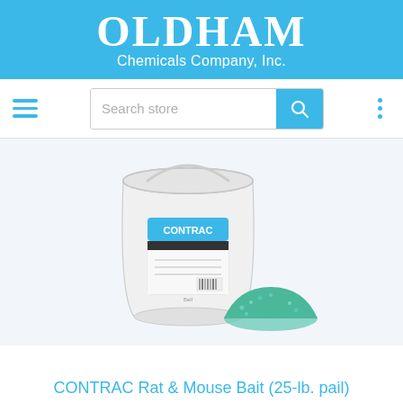OLDHAM Chemicals Company, Inc.
[Figure (screenshot): Navigation bar with hamburger menu, search bar with search icon button, and three-dot menu icon]
[Figure (photo): White 5-gallon plastic pail of CONTRAC Rat & Mouse Bait with a small pile of green rodenticide bait granules in front of it]
CONTRAC Rat & Mouse Bait (25-lb. pail)